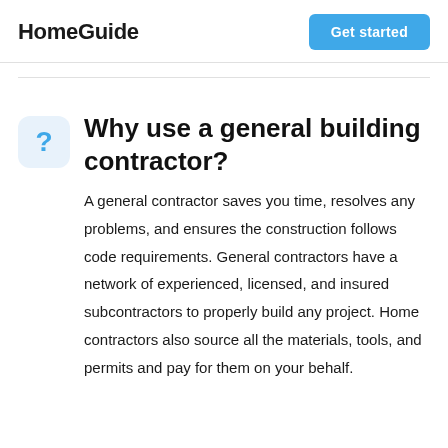HomeGuide
Get started
Why use a general building contractor?
A general contractor saves you time, resolves any problems, and ensures the construction follows code requirements. General contractors have a network of experienced, licensed, and insured subcontractors to properly build any project. Home contractors also source all the materials, tools, and permits and pay for them on your behalf.